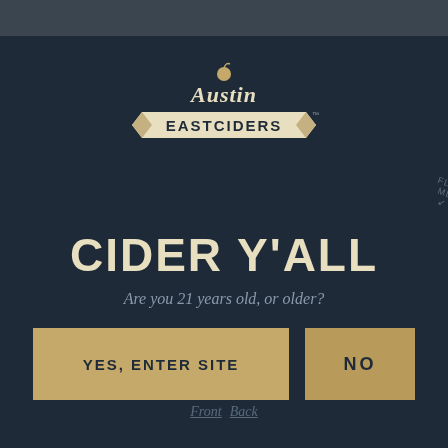[Figure (logo): Austin Eastciders logo — script 'Austin' text above a banner reading 'EASTCIDERS' with a small apple icon on top]
CIDER Y'ALL
Are you 21 years old, or older?
YES, ENTER SITE
NO
Front   Back